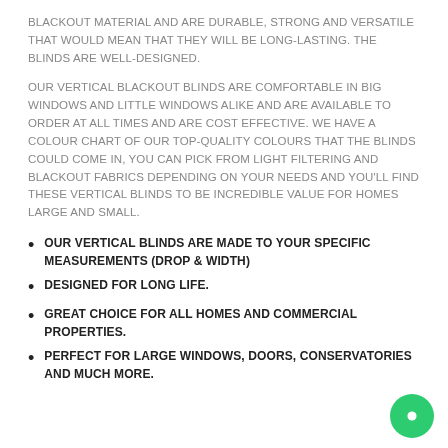BLACKOUT MATERIAL AND ARE DURABLE, STRONG AND VERSATILE THAT WOULD MEAN THAT THEY WILL BE LONG-LASTING. THE BLINDS ARE WELL-DESIGNED.
OUR VERTICAL BLACKOUT BLINDS ARE COMFORTABLE IN BIG WINDOWS AND LITTLE WINDOWS ALIKE AND ARE AVAILABLE TO ORDER AT ALL TIMES AND ARE COST EFFECTIVE. WE HAVE A COLOUR CHART OF OUR TOP-QUALITY COLOURS THAT THE BLINDS COULD COME IN, YOU CAN PICK FROM LIGHT FILTERING AND BLACKOUT FABRICS DEPENDING ON YOUR NEEDS AND YOU'LL FIND THESE VERTICAL BLINDS TO BE INCREDIBLE VALUE FOR HOMES LARGE AND SMALL.
OUR VERTICAL BLINDS ARE MADE TO YOUR SPECIFIC MEASUREMENTS (DROP & WIDTH)
DESIGNED FOR LONG LIFE.
GREAT CHOICE FOR ALL HOMES AND COMMERCIAL PROPERTIES.
PERFECT FOR LARGE WINDOWS, DOORS, CONSERVATORIES AND MUCH MORE.